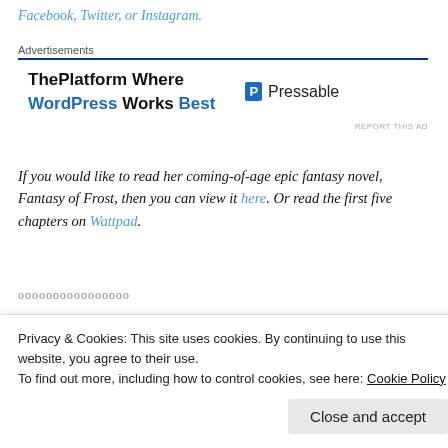Facebook, Twitter, or Instagram.
[Figure (other): Advertisement banner for Pressable - 'ThePlatform Where WordPress Works Best']
If you would like to read her coming-of-age epic fantasy novel, Fantasy of Frost, then you can view it here. Or read the first five chapters on Wattpad.
oooooooooooooooo
[Figure (other): QR code image]
Signup for the mailing list for a free special edition
Privacy & Cookies: This site uses cookies. By continuing to use this website, you agree to their use. To find out more, including how to control cookies, see here: Cookie Policy
Close and accept